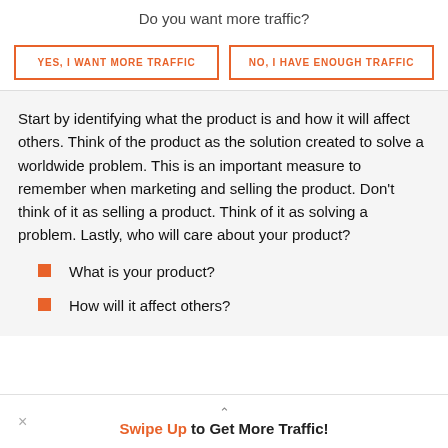Do you want more traffic?
[Figure (other): Two call-to-action buttons with orange borders: 'YES, I WANT MORE TRAFFIC' and 'NO, I HAVE ENOUGH TRAFFIC']
Start by identifying what the product is and how it will affect others. Think of the product as the solution created to solve a worldwide problem. This is an important measure to remember when marketing and selling the product. Don't think of it as selling a product. Think of it as solving a problem. Lastly, who will care about your product?
What is your product?
How will it affect others?
Swipe Up to Get More Traffic!